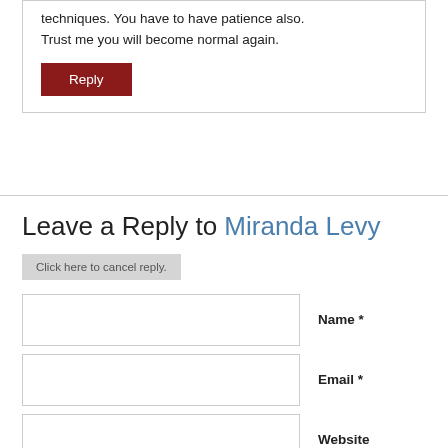techniques. You have to have patience also. Trust me you will become normal again.
Reply
Leave a Reply to Miranda Levy
Click here to cancel reply.
Name *
Email *
Website